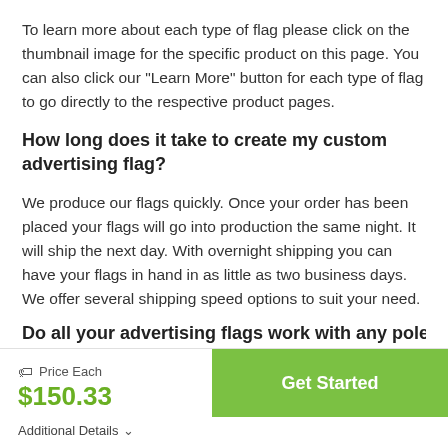To learn more about each type of flag please click on the thumbnail image for the specific product on this page. You can also click our “Learn More” button for each type of flag to go directly to the respective product pages.
How long does it take to create my custom advertising flag?
We produce our flags quickly. Once your order has been placed your flags will go into production the same night. It will ship the next day. With overnight shipping you can have your flags in hand in as little as two business days. We offer several shipping speed options to suit your need.
Do all your advertising flags work with any pole
Price Each
$150.33
Get Started
Additional Details